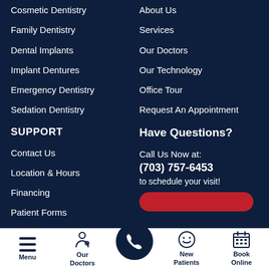Cosmetic Dentistry
Family Dentistry
Dental Implants
Implant Dentures
Emergency Dentistry
Sedation Dentistry
SUPPORT
Contact Us
Location & Hours
Financing
Patient Forms
About Us
Services
Our Doctors
Our Technology
Office Tour
Request An Appointment
Have Questions?
Call Us Now at:
(703) 757-6453
to schedule your visit!
Menu | Our Doctors | (phone) | New Patients | Book Online